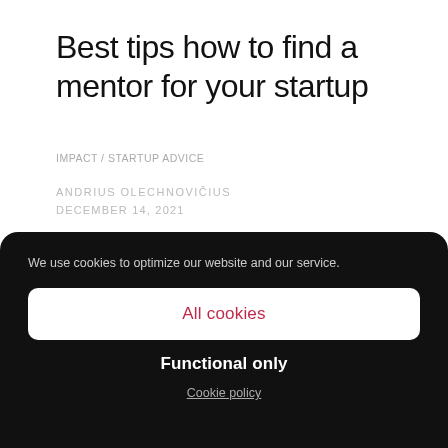Best tips how to find a mentor for your startup
IMPACT / STARTUP ADVICE
ANDRIUS OLECHNOVIČIUS
DECEMBER 14, 2021
We use cookies to optimize our website and our service.
All cookies
Functional only
Cookie policy